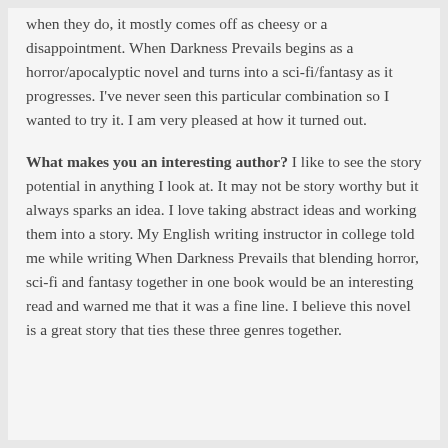when they do, it mostly comes off as cheesy or a disappointment. When Darkness Prevails begins as a horror/apocalyptic novel and turns into a sci-fi/fantasy as it progresses. I've never seen this particular combination so I wanted to try it. I am very pleased at how it turned out.
What makes you an interesting author? I like to see the story potential in anything I look at. It may not be story worthy but it always sparks an idea. I love taking abstract ideas and working them into a story. My English writing instructor in college told me while writing When Darkness Prevails that blending horror, sci-fi and fantasy together in one book would be an interesting read and warned me that it was a fine line. I believe this novel is a great story that ties these three genres together.